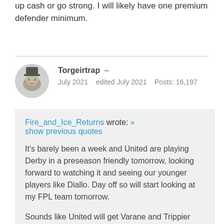up cash or go strong. I will likely have one premium defender minimum.
Torgeirtrap – July 2021  edited July 2021  Posts: 16,197
Fire_and_Ice_Returns wrote: »
show previous quotes

It's barely been a week and United are playing Derby in a preseason friendly tomorrow, looking forward to watching it and seeing our younger players like Diallo. Day off so will start looking at my FPL team tomorrow.

Sounds like United will get Varane and Trippier very soon which is encouraging for the new season.

I need to make decisions about my defence and decide if I free up cash or go strong. I will likely have one premium defender minimum.